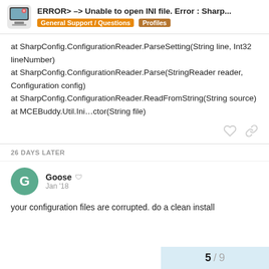ERROR> –> Unable to open INI file. Error : Sharp... | General Support / Questions | Profiles
at SharpConfig.ConfigurationReader.ParseSetting(String line, Int32 lineNumber)
at SharpConfig.ConfigurationReader.Parse(StringReader reader, Configuration config)
at SharpConfig.ConfigurationReader.ReadFromString(String source)
at MCEBuddy.Util.Ini…ctor(String file)
26 DAYS LATER
Goose  Jan '18
your configuration files are corrupted. do a clean install